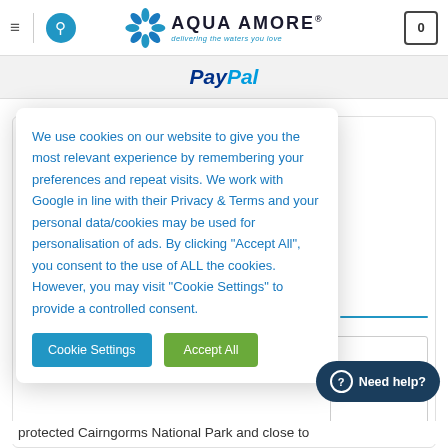Aqua Amore - delivering the waters you love
[Figure (logo): Aqua Amore logo with blue spinner/flower icon and tagline 'delivering the waters you love']
[Figure (logo): PayPal payment banner]
We use cookies on our website to give you the most relevant experience by remembering your preferences and repeat visits. We work with Google in line with their Privacy & Terms and your personal data/cookies may be used for personalisation of ads. By clicking "Accept All", you consent to the use of ALL the cookies. However, you may visit "Cookie Settings" to provide a controlled consent.
Cookie Settings
Accept All
Need help?
protected Cairngorms National Park and close to